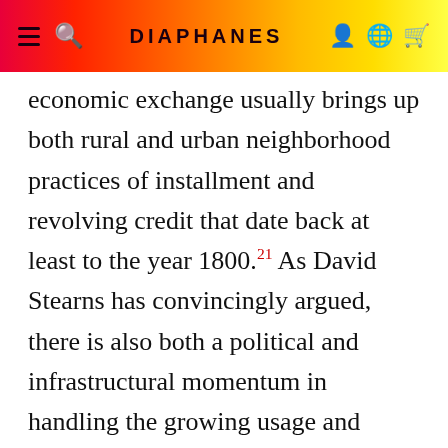DIAPHANES
economic exchange usually brings up both rural and urban neighborhood practices of installment and revolving credit that date back at least to the year 1800.²¹ As David Stearns has convincingly argued, there is also both a political and infrastructural momentum in handling the growing usage and clearance of checks that parallels this development. Handling und regulating this constant flow of paperwork even played a role in the establishment of the US Federal Reserve System in 1913.²² The American geographies of exchange with their long distances called for neighborhood technologies of mediated